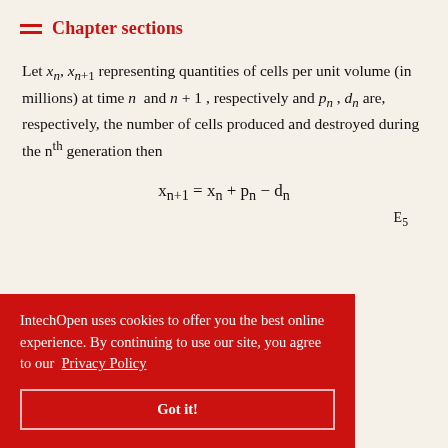Chapter sections
Let x_n, x_{n+1} representing quantities of cells per unit volume (in millions) at time n and n+1, respectively and p_n, d_n are, respectively, the number of cells produced and destroyed during the nth generation then
E5
IntechOpen uses cookies to offer you the best online experience. By continuing to use our site, you agree to our Privacy Policy
Got it!